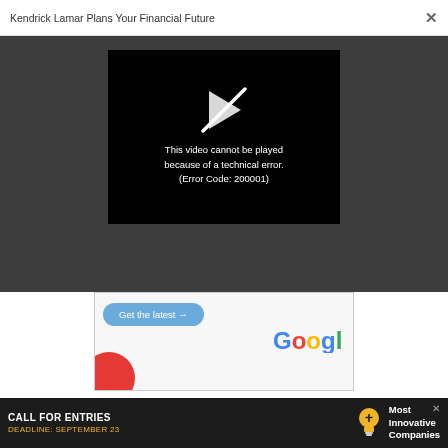Kendrick Lamar Plans Your Financial Future
[Figure (screenshot): Video player showing error message: 'This video cannot be played because of a technical error. (Error Code: 200001)' on black background with broken play icon]
[Figure (screenshot): Google advertisement banner with 'Get the latest →' button and Google logo with red circle decoration]
Picture the coolest, most ridiculously awesome room
[Figure (screenshot): Bottom advertisement banner: 'CALL FOR ENTRIES DEADLINE: SEPTEMBER 23' with lightbulb icon and 'Most Innovative Companies' text]